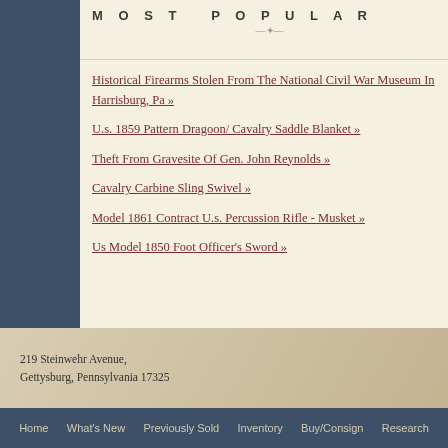MOST POPULAR
FEA
Historical Firearms Stolen From The National Civil War Museum In Harrisburg, Pa »
U.s. 1859 Pattern Dragoon/ Cavalry Saddle Blanket »
Theft From Gravesite Of Gen. John Reynolds »
Cavalry Carbine Sling Swivel »
Model 1861 Contract U.s. Percussion Rifle - Musket »
Us Model 1850 Foot Officer's Sword »
1847 CONGRES THANKS TO GI HIS OFFICERS PERSONALLY POLK
Zachary Taylor rece three times, along w Mexican War, the la awards made by Co State Department o
219 Steinwehr Avenue,
Gettysburg, Pennsylvania 17325
Home   What's New   Previously Sold   Inventory   Buy/Consign   Research